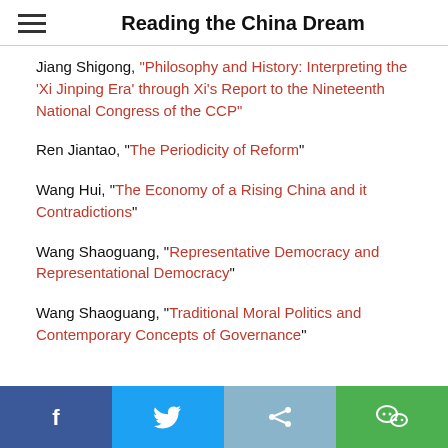Reading the China Dream
Jiang Shigong, “Philosophy and History:  Interpreting the ‘Xi Jinping Era’ through Xi’s Report to the Nineteenth National Congress of the CCP”
Ren Jiantao, “The Periodicity of Reform”
Wang Hui, “The Economy of a Rising China and it Contradictions”
Wang Shaoguang, “Representative Democracy and Representational Democracy”
Wang Shaoguang, “Traditional Moral Politics and Contemporary Concepts of Governance”